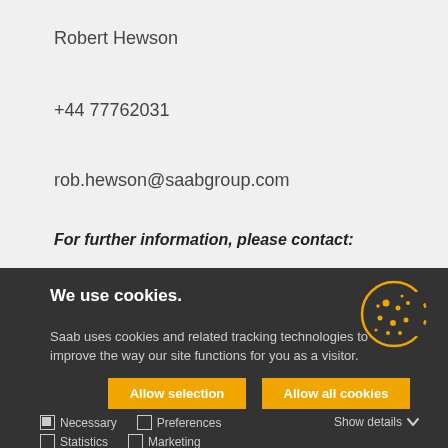Robert Hewson
+44 77762031
rob.hewson@saabgroup.com
For further information, please contact:
We use cookies.
[Figure (illustration): Cookie icon — circular cookie with bite taken out, yellow outline with dots]
Saab uses cookies and related tracking technologies to improve the way our site functions for you as a visitor.
Allow selection
Allow all cookies
Necessary  Preferences  Statistics  Marketing  Show details